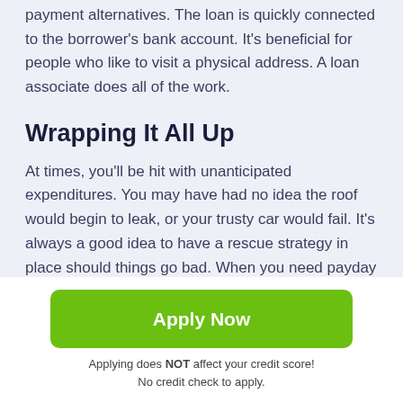payment alternatives. The loan is quickly connected to the borrower's bank account. It's beneficial for people who like to visit a physical address. A loan associate does all of the work.
Wrapping It All Up
At times, you'll be hit with unanticipated expenditures. You may have had no idea the roof would begin to leak, or your trusty car would fail. It's always a good idea to have a rescue strategy in place should things go bad. When you need payday loans in Summerfield, KS, a lending company, can help. Simply fill out an online loan application and submit it to get the money you need fast. Next, fill out the
[Figure (other): Green 'Apply Now' button]
Applying does NOT affect your credit score!
No credit check to apply.